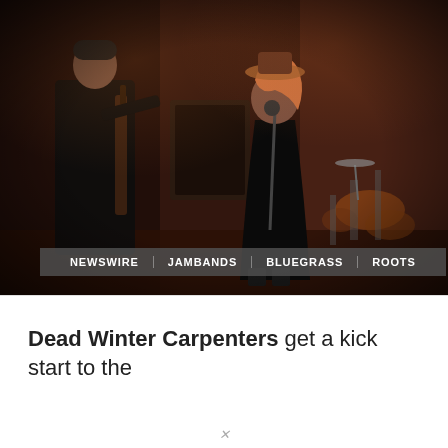[Figure (photo): Concert stage photo showing musicians performing. A person in a black dress stands at a microphone center-right, another musician with an instrument stands to the left. Drum kit visible in the background right. Dark reddish-brown stage lighting. Navigation tags overlay the lower portion: NEWSWIRE, JAMBANDS, BLUEGRASS, ROOTS.]
Dead Winter Carpenters get a kick start to the